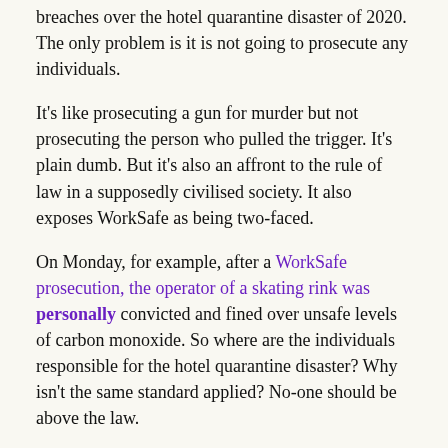breaches over the hotel quarantine disaster of 2020. The only problem is it is not going to prosecute any individuals.
It's like prosecuting a gun for murder but not prosecuting the person who pulled the trigger. It's plain dumb. But it's also an affront to the rule of law in a supposedly civilised society. It also exposes WorkSafe as being two-faced.
On Monday, for example, after a WorkSafe prosecution, the operator of a skating rink was personally convicted and fined over unsafe levels of carbon monoxide. So where are the individuals responsible for the hotel quarantine disaster? Why isn't the same standard applied? No-one should be above the law.